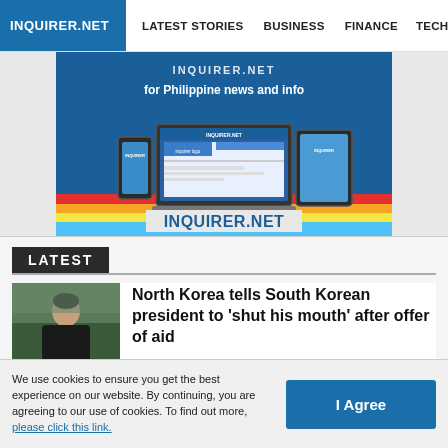INQUIRER.NET | LATEST STORIES | BUSINESS | FINANCE | TECHNOLO
[Figure (screenshot): Inquirer.net promotional banner ad showing the website on laptop, phone and tablet devices with rainbow stripe design and text 'for Philippine news and info' and 'INQUIRER.NET']
LATEST
North Korea tells South Korean president to 'shut his mouth' after offer of aid
2 Army soldiers slain in clash
We use cookies to ensure you get the best experience on our website. By continuing, you are agreeing to our use of cookies. To find out more, please click this link.